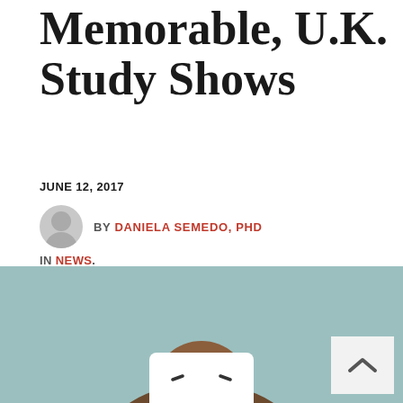…sideways More Memorable, U.K. Study Shows
JUNE 12, 2017
BY DANIELA SEMEDO, PHD
IN NEWS.
[Figure (photo): Person holding a white tablet/card with a sad face emoji in front of their face, against a light teal background. A scroll-to-top button (chevron up icon) is visible in the bottom right corner.]